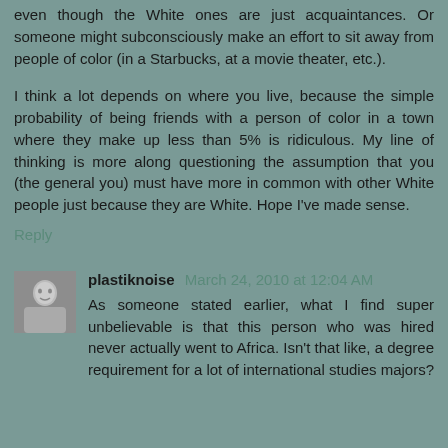even though the White ones are just acquaintances. Or someone might subconsciously make an effort to sit away from people of color (in a Starbucks, at a movie theater, etc.).
I think a lot depends on where you live, because the simple probability of being friends with a person of color in a town where they make up less than 5% is ridiculous. My line of thinking is more along questioning the assumption that you (the general you) must have more in common with other White people just because they are White. Hope I've made sense.
Reply
[Figure (photo): Small avatar photo of a person, grayscale]
plastiknoise March 24, 2010 at 12:04 AM
As someone stated earlier, what I find super unbelievable is that this person who was hired never actually went to Africa. Isn't that like, a degree requirement for a lot of international studies majors?